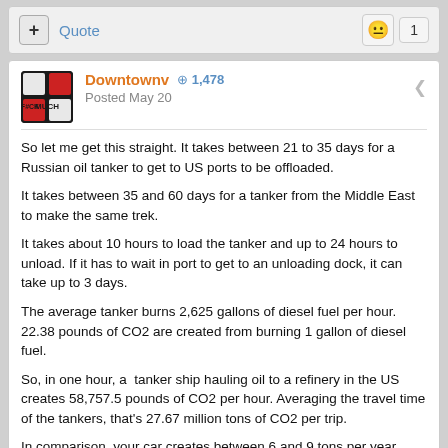+ Quote   [emoji] 1
Downtownv  + 1,478
Posted May 20
So let me get this straight. It takes between 21 to 35 days for a Russian oil tanker to get to US ports to be offloaded.

It takes between 35 and 60 days for a tanker from the Middle East to make the same trek.

It takes about 10 hours to load the tanker and up to 24 hours to unload. If it has to wait in port to get to an unloading dock, it can take up to 3 days.

The average tanker burns 2,625 gallons of diesel fuel per hour. 22.38 pounds of CO2 are created from burning 1 gallon of diesel fuel.

So, in one hour, a  tanker ship hauling oil to a refinery in the US creates 58,757.5 pounds of CO2 per hour. Averaging the travel time of the tankers, that's 27.67 million tons of CO2 per trip.

In comparison, your car creates between 6 and 9 tons per year.

Without going into all the equations of how many tankers come to the US per year, let alone our exports, will someone please explain